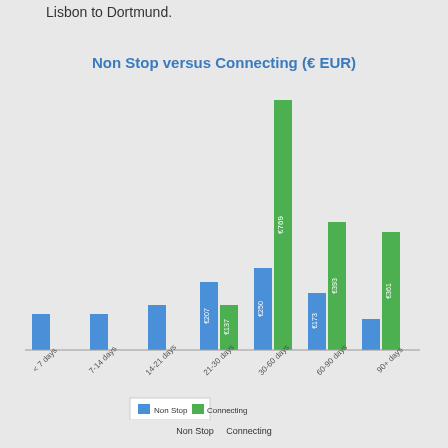Lisbon to Dortmund.
[Figure (grouped-bar-chart): Non Stop versus Connecting (€ EUR)]
Non Stop    Connecting